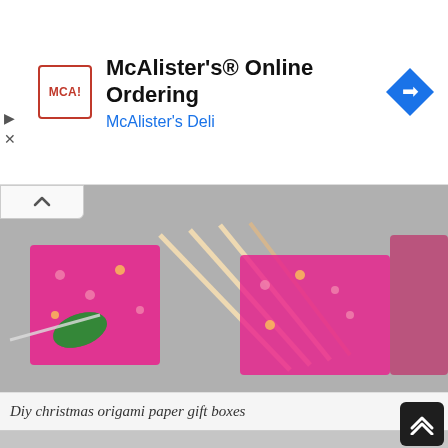[Figure (screenshot): Advertisement banner for McAlister's Online Ordering. Contains McAlister's Deli logo (red bordered box with MCA! text), ad headline 'McAlister's® Online Ordering', subtitle 'McAlister's Deli' in blue, and a blue diamond navigation icon on the right.]
[Figure (photo): Photo of DIY Christmas origami paper gift boxes — pink/red patterned paper boxes with wooden sticks and a green paper leaf decoration.]
Diy christmas origami paper gift boxes
[Figure (screenshot): Bottom portion of a webpage showing a blurred/loading image of what appears to be a device or camera, on a light grey background. A dark scroll-to-top button with double chevron is in the bottom right corner.]